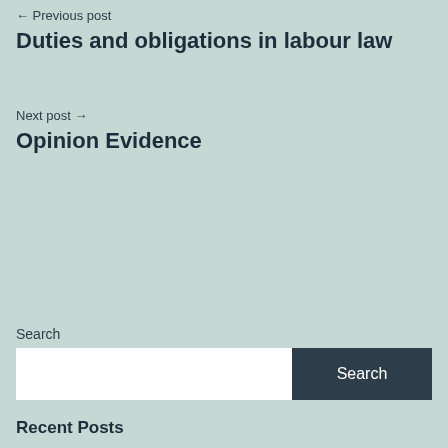← Previous post
Duties and obligations in labour law
Next post →
Opinion Evidence
Search
Search
Recent Posts